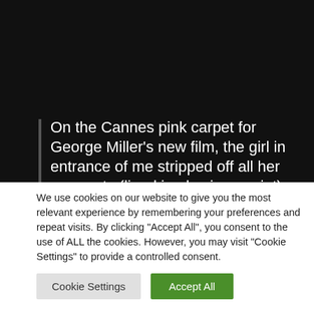[Figure (photo): Dark black background image area taking up the top portion of the page]
On the Cannes pink carpet for George Miller’s new film, the girl in entrance of me stripped off all her garments (lined in physique paint) and fell to her knees
We use cookies on our website to give you the most relevant experience by remembering your preferences and repeat visits. By clicking “Accept All”, you consent to the use of ALL the cookies. However, you may visit "Cookie Settings" to provide a controlled consent.